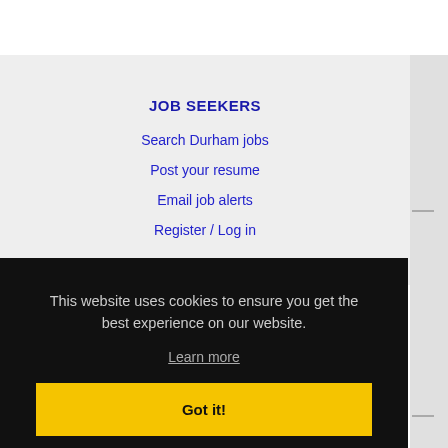JOB SEEKERS
Search Durham jobs
Post your resume
Email job alerts
Register / Log in
This website uses cookies to ensure you get the best experience on our website.
Learn more
Got it!